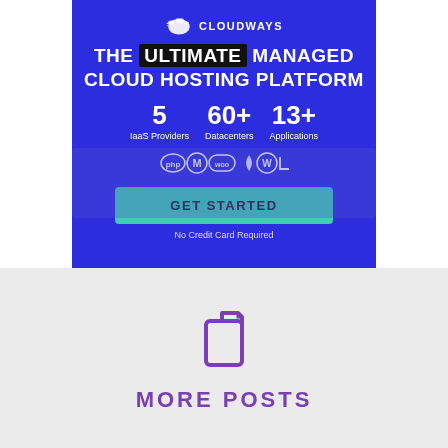[Figure (infographic): Cloudways advertisement banner with blue background showing 'THE ULTIMATE MANAGED CLOUD HOSTING PLATFORM', stats: 5 IaaS Providers, 60+ Datacenters, 13+ Applications, app icons, GET STARTED button, No Credit Card Required text]
[Figure (illustration): Purple copy/documents icon on light gray background]
MORE POSTS